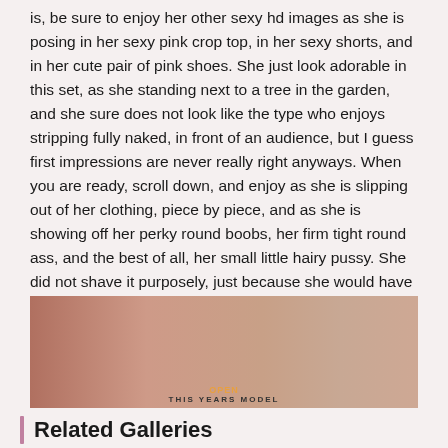is, be sure to enjoy her other sexy hd images as she is posing in her sexy pink crop top, in her sexy shorts, and in her cute pair of pink shoes. She just look adorable in this set, as she standing next to a tree in the garden, and she sure does not look like the type who enjoys stripping fully naked, in front of an audience, but I guess first impressions are never really right anyways. When you are ready, scroll down, and enjoy as she is slipping out of her clothing, piece by piece, and as she is showing off her perky round boobs, her firm tight round ass, and the best of all, her small little hairy pussy. She did not shave it purposely, just because she would have liked to show that she was not such a little girl anymore! Make sure that you do not miss out on her, as she is waiting for no one else but you!
[Figure (photo): Photograph of a blonde woman lying down, partially unclothed, with overlay text reading OPEN and THIS YEARS MODEL]
Related Galleries